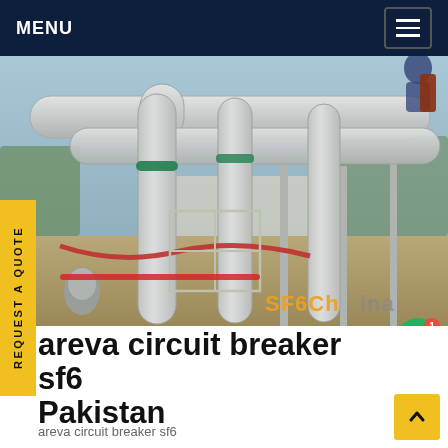MENU
[Figure (photo): Industrial SF6 circuit breaker equipment at an outdoor electrical substation, showing large grey metal pipes and fittings, with text watermark 'SF6China' in orange]
areva circuit breaker sf6 Pakistan
areva circuit breaker sf6